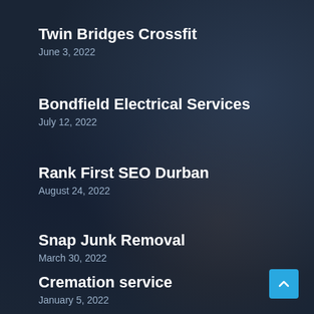Twin Bridges Crossfit
June 3, 2022
Bondfield Electrical Services
July 12, 2022
Rank First SEO Durban
August 24, 2022
Snap Junk Removal
March 30, 2022
Cremation service
January 5, 2022